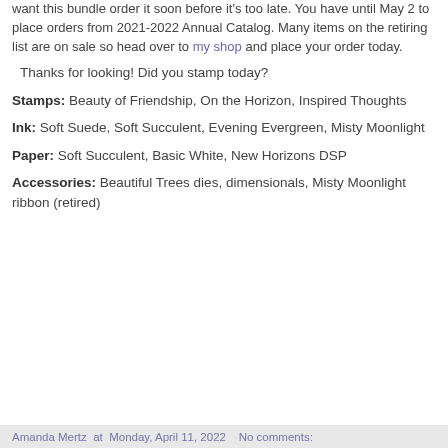want this bundle order it soon before it's too late. You have until May 2 to place orders from 2021-2022 Annual Catalog. Many items on the retiring list are on sale so head over to my shop and place your order today.
Thanks for looking!  Did you stamp today?
Stamps: Beauty of Friendship, On the Horizon, Inspired Thoughts
Ink: Soft Suede, Soft Succulent, Evening Evergreen, Misty Moonlight
Paper: Soft Succulent, Basic White, New Horizons DSP
Accessories: Beautiful Trees dies, dimensionals, Misty Moonlight ribbon (retired)
Amanda Mertz  at  Monday, April 11, 2022   No comments: